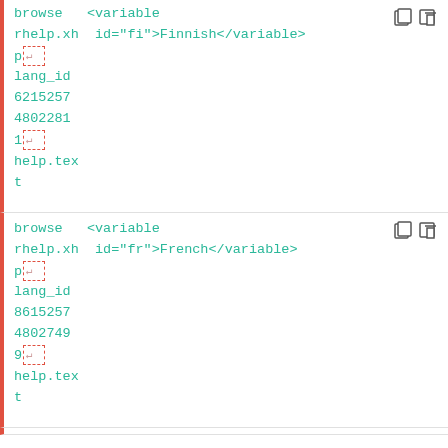browse  <variable
rhelp.xh  id="fi">Finnish</variable>
p↵
lang_id
6215257
4802281
1↵
help.tex
t
browse  <variable
rhelp.xh  id="fr">French</variable>
p↵
lang_id
8615257
4802749
9↵
help.tex
t